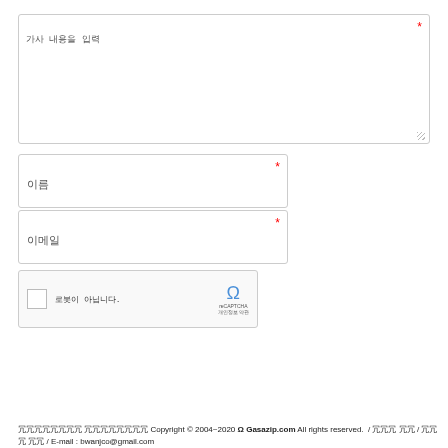[Figure (screenshot): Textarea input field with Korean placeholder text and required asterisk]
[Figure (screenshot): Name input field with Korean label and required asterisk]
[Figure (screenshot): Email input field with Korean label and required asterisk]
[Figure (screenshot): reCAPTCHA widget with checkbox and logo]
[Figure (screenshot): Checkbox row and blue submit button with Korean text]
가사집닷컴 가사랑닷컴 Copyright © 2004~2020 Gasazip.com All rights reserved. / 개인 정보 / 이용 약관 / E-mail : bwanjco@gmail.com